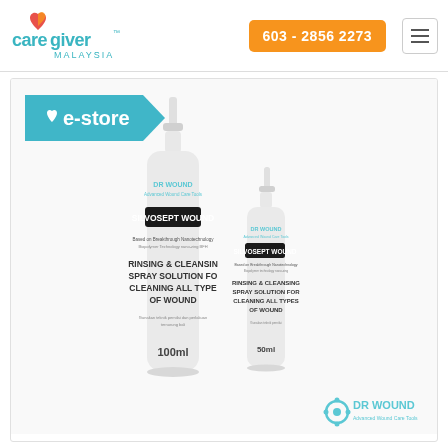[Figure (logo): Caregiver Malaysia logo — stylized heart with orange and red colors, text 'caregiver' in teal lowercase with 'MALAYSIA' below]
603 - 2856 2273
[Figure (logo): e-store badge in teal with heart icon]
[Figure (photo): Two white spray bottles — Dr Wound Silvosept Wound rinsing and cleansing spray solution for cleaning all types of wound. Large bottle 100ml, small bottle 50ml.]
[Figure (logo): Dr Wound logo — teal circle icon with text 'DR WOUND' and tagline 'Advanced Wound Care Tools']